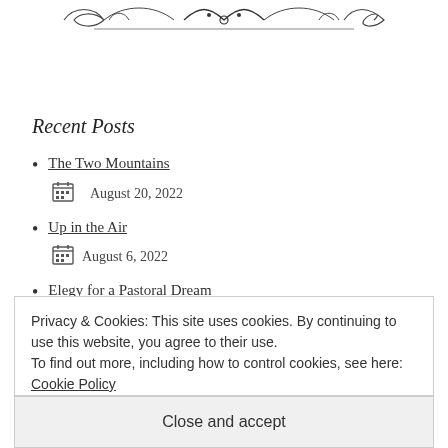[Figure (illustration): Decorative scrollwork/flourish divider at the top of the page]
Recent Posts
The Two Mountains
August 20, 2022
Up in the Air
August 6, 2022
Elegy for a Pastoral Dream
Privacy & Cookies: This site uses cookies. By continuing to use this website, you agree to their use.
To find out more, including how to control cookies, see here: Cookie Policy
Close and accept